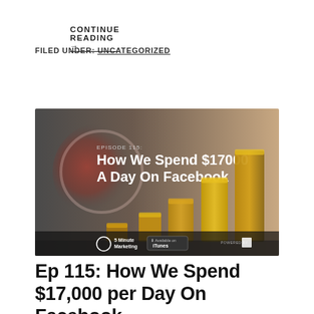CONTINUE READING →
FILED UNDER: UNCATEGORIZED
[Figure (photo): Podcast episode thumbnail image showing stacks of gold coins in increasing height with text 'EPISODE 115: How We Spend $17000 A Day On Facebook', 5 Minute Marketing logo, iTunes badge, and powered by logo]
Ep 115: How We Spend $17,000 per Day On Facebook